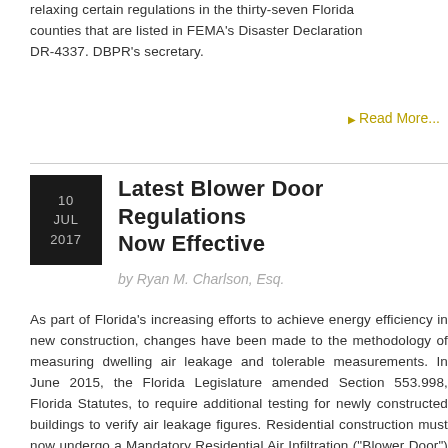relaxing certain regulations in the thirty-seven Florida counties that are listed in FEMA's Disaster Declaration DR-4337. DBPR's secretary.
Read More...
Latest Blower Door Regulations Now Effective
by Ryan M. Charlson, Esq.
As part of Florida's increasing efforts to achieve energy efficiency in new construction, changes have been made to the methodology of measuring dwelling air leakage and tolerable measurements. In June 2015, the Florida Legislature amended Section 553.998, Florida Statutes, to require additional testing for newly constructed buildings to verify air leakage figures. Residential construction must now undergo a Mandatory Residential Air Infiltration ("Blower Door") Test. Florida companies were granted a two-year "grace period" to